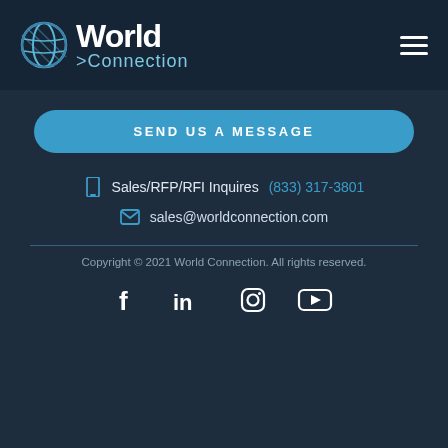[Figure (logo): World Connection logo with globe icon, white text 'World' and blue text '>Connection']
SEND US A MESSAGE
Sales/RFP/RFI Inquires (833) 317-3801
sales@worldconnection.com
Copyright © 2021 World Connection. All rights reserved.
[Figure (illustration): Social media icons: Facebook, LinkedIn, Instagram, YouTube]